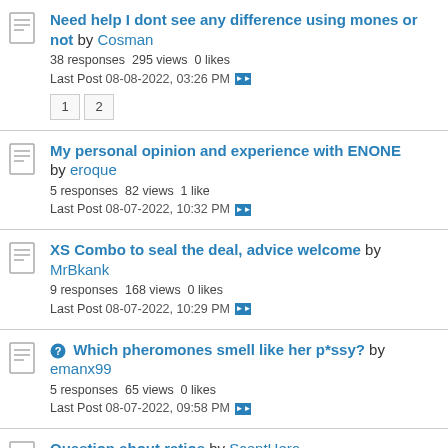Need help I dont see any difference using mones or not by Cosman
38 responses 295 views 0 likes
Last Post 08-08-2022, 03:26 PM
My personal opinion and experience with ENONE by eroque
5 responses 82 views 1 like
Last Post 08-07-2022, 10:32 PM
XS Combo to seal the deal, advice welcome by MrBkank
9 responses 168 views 0 likes
Last Post 08-07-2022, 10:29 PM
Which pheromones smell like her p*ssy? by emanx99
5 responses 65 views 0 likes
Last Post 08-07-2022, 09:58 PM
Question about ratios by ScentHero
7 responses 113 views 0 likes
Last Post 08-07-2022, 09:54 PM